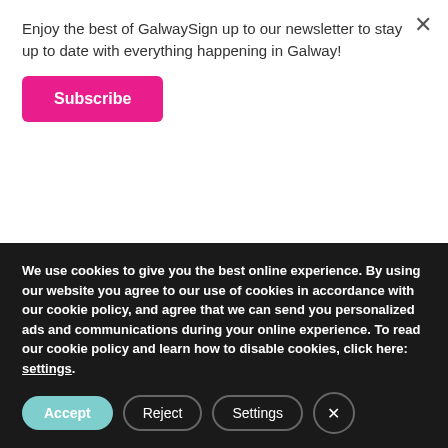Enjoy the best of GalwaySign up to our newsletter to stay up to date with everything happening in Galway!
Subscribe
quality, but it's their Sunday Lunch menu that really draws a crowd. Start off with soup of the day, followed by some roast beef and rounded off with a warm chocolate brownie - bliss!
15. VINEGAR SOAKED FISH & CHIPS
We use cookies to give you the best online experience. By using our website you agree to our use of cookies in accordance with our cookie policy, and agree that we can send you personalized ads and communications during your online experience. To read our cookie policy and learn how to disable cookies, click here: settings.
Accept
Reject
Settings